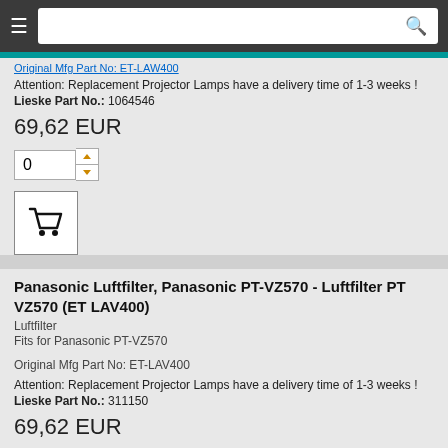≡ [search bar] 🔍
Original Mfg Part No: ET-LAW400 (partial/truncated)
Attention: Replacement Projector Lamps have a delivery time of 1-3 weeks !
Lieske Part No.: 1064546
69,62 EUR
[Figure (illustration): Quantity input box showing 0 with up/down arrow buttons]
[Figure (illustration): Add to cart button with shopping cart icon]
Panasonic Luftfilter, Panasonic PT-VZ570 - Luftfilter PT VZ570 (ET LAV400)
Luftfilter
Fits for Panasonic PT-VZ570
Original Mfg Part No: ET-LAV400
Attention: Replacement Projector Lamps have a delivery time of 1-3 weeks !
Lieske Part No.: 311150
69,62 EUR
[Figure (illustration): Quantity input box showing 0 with up/down arrow buttons]
[Figure (illustration): Add to cart button with shopping cart icon (partial)]